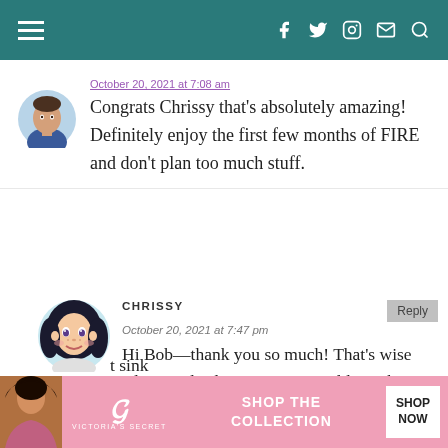Navigation header with hamburger menu and social icons (Facebook, Twitter, Instagram, Email, Search)
October 20, 2021 at 7:08 am
Congrats Chrissy that's absolutely amazing! Definitely enjoy the first few months of FIRE and don't plan too much stuff.
CHRISSY
October 20, 2021 at 7:47 pm
Hi Bob—thank you so much! That's wise advice indeed. I guess you could say that's one silver lining of COVID, ha ha. We'll conti... sink
[Figure (screenshot): Victoria's Secret advertisement banner with model, VS logo, SHOP THE COLLECTION text, and SHOP NOW button]